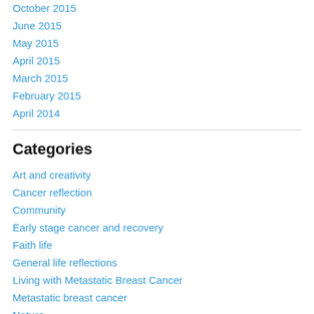October 2015
June 2015
May 2015
April 2015
March 2015
February 2015
April 2014
Categories
Art and creativity
Cancer reflection
Community
Early stage cancer and recovery
Faith life
General life reflections
Living with Metastatic Breast Cancer
Metastatic breast cancer
Nature